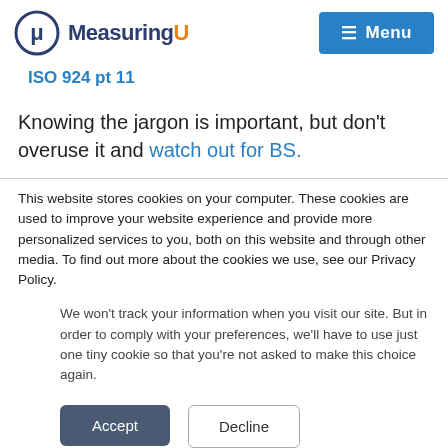MeasuringU — Menu
ISO 924 pt 11
Knowing the jargon is important, but don't overuse it and watch out for BS.
This website stores cookies on your computer. These cookies are used to improve your website experience and provide more personalized services to you, both on this website and through other media. To find out more about the cookies we use, see our Privacy Policy.
We won't track your information when you visit our site. But in order to comply with your preferences, we'll have to use just one tiny cookie so that you're not asked to make this choice again.
Accept
Decline